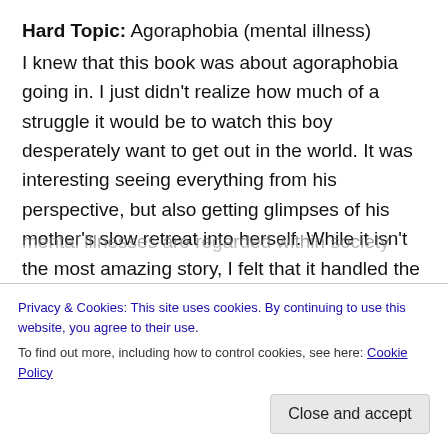Hard Topic: Agoraphobia (mental illness)
I knew that this book was about agoraphobia going in. I just didn't realize how much of a struggle it would be to watch this boy desperately want to get out in the world. It was interesting seeing everything from his perspective, but also getting glimpses of his mother's slow retreat into herself. While it isn't the most amazing story, I felt that it handled the subject matter as well, while also hitting on some other hard topics including the way that Native Americans are treated and how people with debilitating mental illnesses are regarded within society and used
Privacy & Cookies: This site uses cookies. By continuing to use this website, you agree to their use.
To find out more, including how to control cookies, see here: Cookie Policy
Close and accept